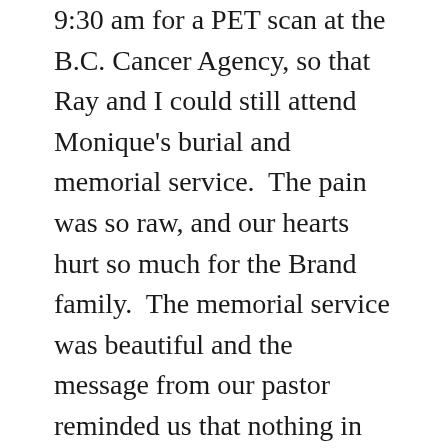9:30 am for a PET scan at the B.C. Cancer Agency, so that Ray and I could still attend Monique's burial and memorial service.  The pain was so raw, and our hearts hurt so much for the Brand family.  The memorial service was beautiful and the message from our pastor reminded us that nothing in this life, not cancer, not even death, can separate us from the love of Christ.  We believe this so there is comfort and hope amidst so much pain and sadness.
Thursday Jacob had an MRI of his legs, CT scan of his lungs, bloodwork, kindey function testing, heart tests, and hearing tests.  It was an exhausting day, but we heard good news.  The PET scan shows a large decrease in